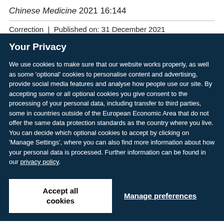Chinese Medicine 2021 16:144
Correction | Published on: 31 December 2021
Your Privacy
We use cookies to make sure that our website works properly, as well as some 'optional' cookies to personalise content and advertising, provide social media features and analyse how people use our site. By accepting some or all optional cookies you give consent to the processing of your personal data, including transfer to third parties, some in countries outside of the European Economic Area that do not offer the same data protection standards as the country where you live. You can decide which optional cookies to accept by clicking on 'Manage Settings', where you can also find more information about how your personal data is processed. Further information can be found in our privacy policy.
Accept all cookies
Manage preferences